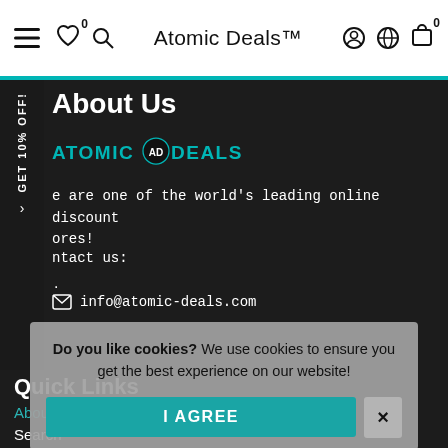Atomic Deals™
About Us
[Figure (logo): Atomic Deals logo with teal/cyan text and circular emblem in center]
We are one of the world's leading online discount stores!
Contact us:
✉ info@atomic-deals.com
Quick Links
About Us
Search
Do you like cookies? We use cookies to ensure you get the best experience on our website!